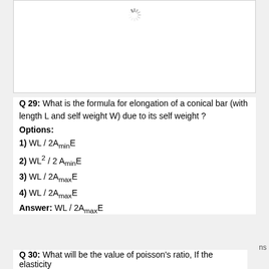[Figure (other): Loading spinner icon in a white bordered box, indicating an image placeholder]
Q 29: What is the formula for elongation of a conical bar (with length L and self weight W) due to its self weight ?
Options:
1) WL / 2A_min E
2) WL^2 / 2 A_min E
3) WL / 2A_max E
4) WL / 2A_max E
Answer: WL / 2A_max E
Q 30: What will be the value of poisson's ratio, If the elasticity